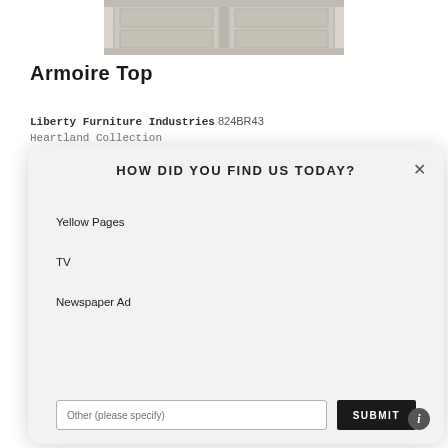[Figure (photo): Top portion of a gray/white painted wooden armoire with decorative panel doors]
Armoire Top
Liberty Furniture Industries 824BR43
Heartland Collection
HOW DID YOU FIND US TODAY?
Yellow Pages
TV
Newspaper Ad
Other (please specify)
SUBMIT